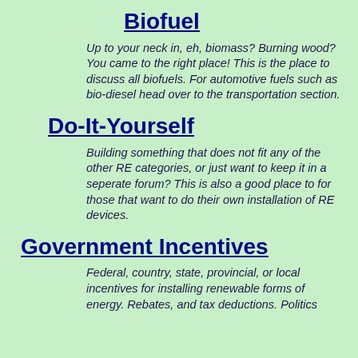Biofuel
Up to your neck in, eh, biomass? Burning wood? You came to the right place! This is the place to discuss all biofuels. For automotive fuels such as bio-diesel head over to the transportation section.
Do-It-Yourself
Building something that does not fit any of the other RE categories, or just want to keep it in a seperate forum? This is also a good place to for those that want to do their own installation of RE devices.
Government Incentives
Federal, country, state, provincial, or local incentives for installing renewable forms of energy. Rebates, and tax deductions. Politics